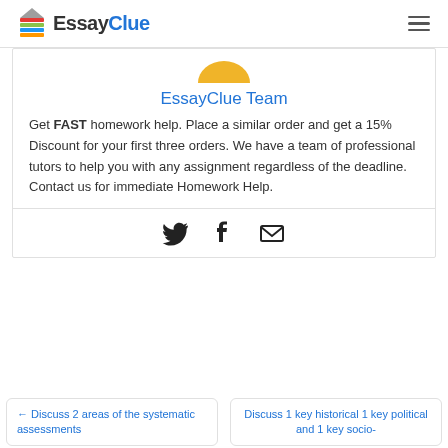EssayClue
[Figure (illustration): Partial view of a circular avatar/profile icon with golden/yellow color at the top of the author card]
EssayClue Team
Get FAST homework help. Place a similar order and get a 15% Discount for your first three orders. We have a team of professional tutors to help you with any assignment regardless of the deadline. Contact us for immediate Homework Help.
[Figure (infographic): Social sharing icons: Twitter bird icon, Facebook f icon, and envelope/mail icon]
← Discuss 2 areas of the systematic assessments
Discuss 1 key historical 1 key political and 1 key socio-